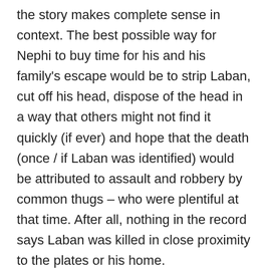the story makes complete sense in context. The best possible way for Nephi to buy time for his and his family's escape would be to strip Laban, cut off his head, dispose of the head in a way that others might not find it quickly (if ever) and hope that the death (once / if Laban was identified) would be attributed to assault and robbery by common thugs – who were plentiful at that time. After all, nothing in the record says Laban was killed in close proximity to the plates or his home.
As to the idea that it's impossible for Nephi to have cut off Laban's head without getting blood all over Laban's clothing, that's nonsense. It can be done, if you know how to do it and the blow is quick and clean. It's all about positioning and